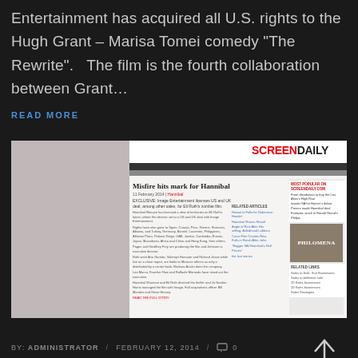Entertainment has acquired all U.S. rights to the Hugh Grant – Marisa Tomei comedy "The Rewrite".   The film is the fourth collaboration between Grant…
READ MORE
[Figure (screenshot): Screenshot of ScreenDaily website showing article 'Misfire hits mark for Hannibal' with navigation, sidebar with Philomena advertisement, and related articles.]
BY: ADMINISTRATOR / FEBRUARY 12, 2014 / 0